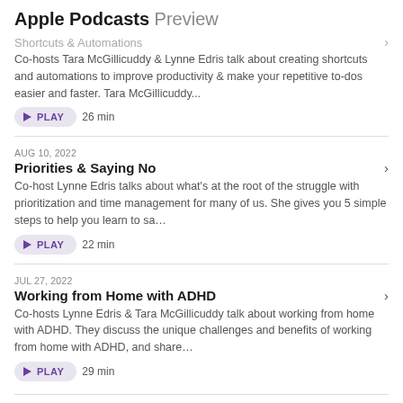Apple Podcasts Preview
Shortcuts & Automations
Co-hosts Tara McGillicuddy & Lynne Edris talk about creating shortcuts and automations to improve productivity & make your repetitive to-dos easier and faster. Tara McGillicuddy...
▶ PLAY  26 min
AUG 10, 2022
Priorities & Saying No
Co-host Lynne Edris talks about what's at the root of the struggle with prioritization and time management for many of us. She gives you 5 simple steps to help you learn to sa...
▶ PLAY  22 min
JUL 27, 2022
Working from Home with ADHD
Co-hosts Lynne Edris & Tara McGillicuddy talk about working from home with ADHD. They discuss the unique challenges and benefits of working from home with ADHD, and share...
▶ PLAY  29 min